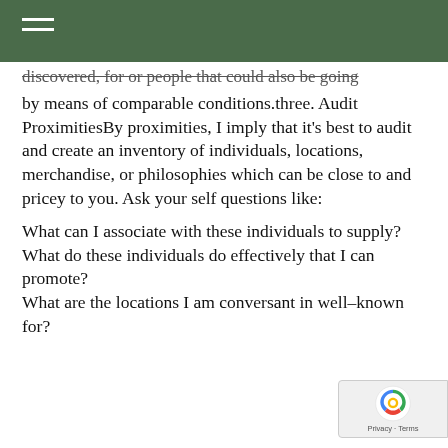discovered, for or people that could also be going by means of comparable conditions.three. Audit ProximitiesBy proximities, I imply that it's best to audit and create an inventory of individuals, locations, merchandise, or philosophies which can be close to and pricey to you. Ask your self questions like:
What can I associate with these individuals to supply?
What do these individuals do effectively that I can promote?
What are the locations I am conversant in well–known for?